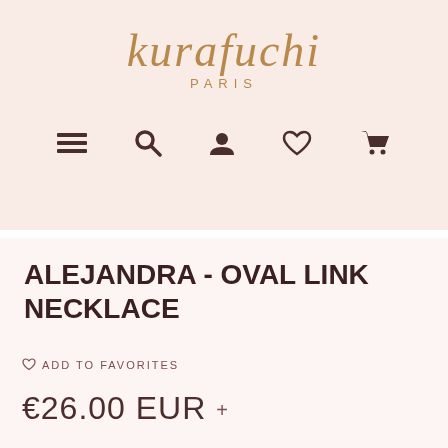[Figure (logo): Kurafuchi Paris logo in gold/tan italic font with PARIS subtitle in spaced capitals]
[Figure (infographic): Navigation bar with 5 icons: hamburger menu, search magnifier, user profile, heart/favorites, shopping cart]
ALEJANDRA - OVAL LINK NECKLACE
ADD TO FAVORITES
€26.00 EUR +